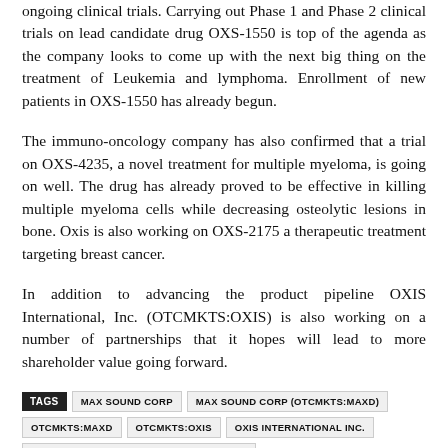ongoing clinical trials. Carrying out Phase 1 and Phase 2 clinical trials on lead candidate drug OXS-1550 is top of the agenda as the company looks to come up with the next big thing on the treatment of Leukemia and lymphoma. Enrollment of new patients in OXS-1550 has already begun.
The immuno-oncology company has also confirmed that a trial on OXS-4235, a novel treatment for multiple myeloma, is going on well. The drug has already proved to be effective in killing multiple myeloma cells while decreasing osteolytic lesions in bone. Oxis is also working on OXS-2175 a therapeutic treatment targeting breast cancer.
In addition to advancing the product pipeline OXIS International, Inc. (OTCMKTS:OXIS) is also working on a number of partnerships that it hopes will lead to more shareholder value going forward.
TAGS  MAX SOUND CORP  MAX SOUND CORP (OTCMKTS:MAXD)  OTCMKTS:MAXD  OTCMKTS:OXIS  OXIS INTERNATIONAL INC.  OXIS INTERNATIONAL INC. (OTCMKTS:OXIS)